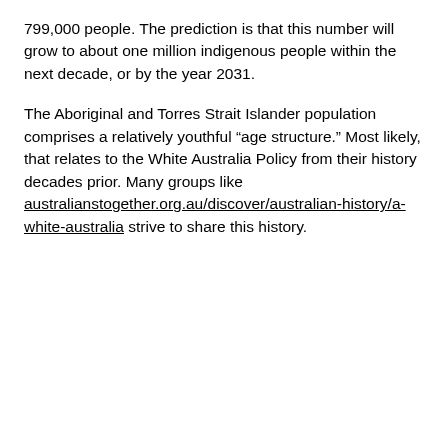799,000 people. The prediction is that this number will grow to about one million indigenous people within the next decade, or by the year 2031.
The Aboriginal and Torres Strait Islander population comprises a relatively youthful “age structure.” Most likely, that relates to the White Australia Policy from their history decades prior. Many groups like australianstogether.org.au/discover/australian-history/a-white-australia strive to share this history.